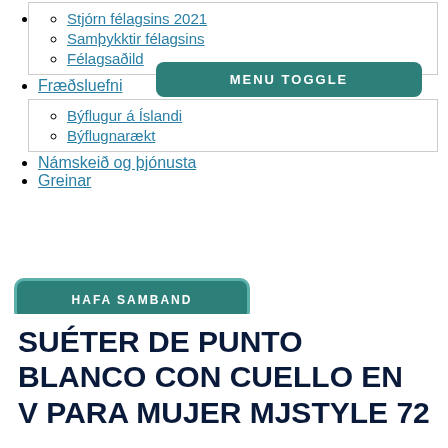Stjórn félagsins 2021
Samþykktir félagsins
Félagsaðild
Fræðsluefni
Býflugur á Íslandi
Býflugnarækt
Námskeið og þjónusta
Greinar
MENU TOGGLE
HAFA SAMBAND
HAFA SAMBAND
SUÉTER DE PUNTO BLANCO CON CUELLO EN V PARA MUJER MJSTYLE 72